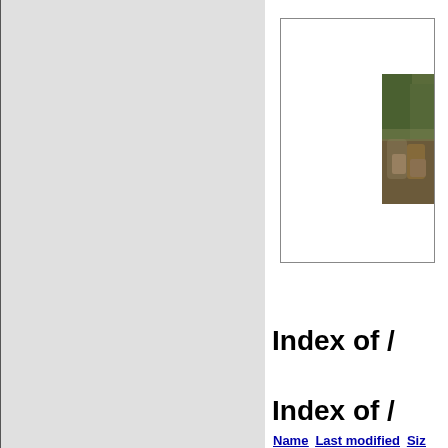[Figure (screenshot): Left grey panel with border, representing a web browser sidebar or frame]
[Figure (photo): Small thumbnail photo showing forest/rocks/nature scene inside a bordered box]
Index of /
Index of /
| Name | Last modified | Size |
| --- | --- | --- |